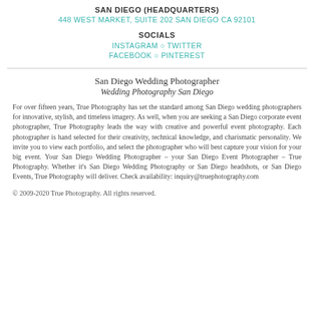SAN DIEGO (HEADQUARTERS)
448 WEST MARKET, SUITE 202 SAN DIEGO CA 92101
SOCIALS
INSTAGRAM ○ TWITTER
FACEBOOK ○ PINTEREST
San Diego Wedding Photographer
Wedding Photography San Diego
For over fifteen years, True Photography has set the standard among San Diego wedding photographers for innovative, stylish, and timeless imagery. As well, when you are seeking a San Diego corporate event photographer, True Photography leads the way with creative and powerful event photography. Each photographer is hand selected for their creativity, technical knowledge, and charismatic personality. We invite you to view each portfolio, and select the photographer who will best capture your vision for your big event. Your San Diego Wedding Photographer – your San Diego Event Photographer – True Photography. Whether it's San Diego Wedding Photography or San Diego headshots, or San Diego Events, True Photography will deliver. Check availability: inquiry@truephotography.com
© 2009-2020 True Photography. All rights reserved.